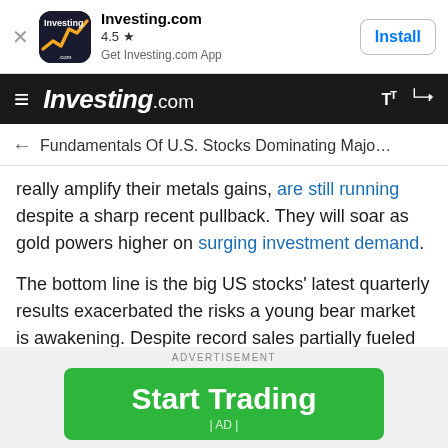[Figure (screenshot): App install banner for Investing.com showing app icon, 4.5 star rating, 'Get Investing.com App' subtitle, and an Install button]
Investing.com navigation bar with hamburger menu, logo, font size and share icons
← Fundamentals Of U.S. Stocks Dominating Majo…
really amplify their metals gains, are still running despite a sharp recent pullback. They will soar as gold powers higher on surging investment demand.
The bottom line is the big US stocks' latest quarterly results exacerbated the risks a young bear market is awakening. Despite record sales partially fueled by the Fed's raging inflation, both accounting profits and operating cashflows still slumped. Higher input costs are already eroding margins, eating into earnings. That's
ADVERTISEMENT
[Figure (other): Green 'Start Trading' advertisement button with '| AD |' label below]